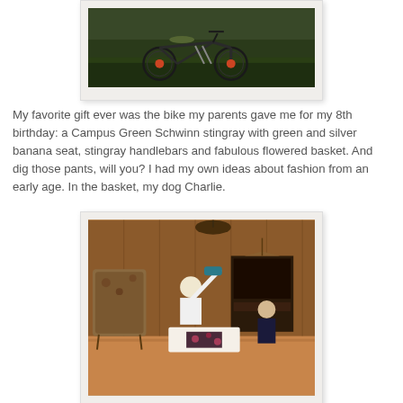[Figure (photo): Vintage photograph of a Schwinn Stingray bicycle on grass, partially visible at top of page]
My favorite gift ever was the bike my parents gave me for my 8th birthday: a Campus Green Schwinn stingray with green and silver banana seat, stingray handlebars and fabulous flowered basket. And dig those pants, will you? I had my own ideas about fashion from an early age. In the basket, my dog Charlie.
[Figure (photo): Vintage photograph of children sitting on a carpet in a wood-paneled room, playing or opening gifts]